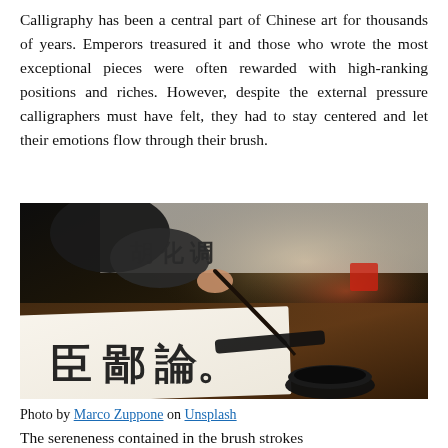Calligraphy has been a central part of Chinese art for thousands of years. Emperors treasured it and those who wrote the most exceptional pieces were often rewarded with high-ranking positions and riches. However, despite the external pressure calligraphers must have felt, they had to stay centered and let their emotions flow through their brush.
[Figure (photo): A person's hands holding a brush, writing large Chinese calligraphy characters in black ink on white paper. An ink stone is visible in the foreground. The scene is lit dramatically with dark background.]
Photo by Marco Zuppone on Unsplash
The sereneness contained in the brush strokes